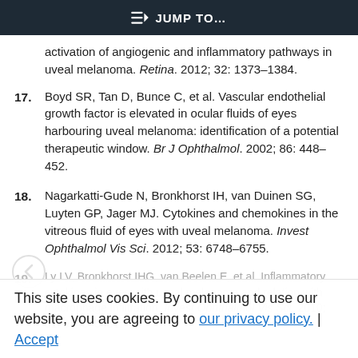JUMP TO...
activation of angiogenic and inflammatory pathways in uveal melanoma. Retina. 2012; 32: 1373–1384.
17. Boyd SR, Tan D, Bunce C, et al. Vascular endothelial growth factor is elevated in ocular fluids of eyes harbouring uveal melanoma: identification of a potential therapeutic window. Br J Ophthalmol. 2002; 86: 448–452.
18. Nagarkatti-Gude N, Bronkhorst IH, van Duinen SG, Luyten GP, Jager MJ. Cytokines and chemokines in the vitreous fluid of eyes with uveal melanoma. Invest Ophthalmol Vis Sci. 2012; 53: 6748–6755.
19. Ly LV, Bronkhorst IHG, van Beelen E, et al. Inflammatory cytokines in eyes with uveal melanoma and relation with macrophage infiltration. Invest Ophthalmol Vis Sci. 2010; 51: 5445–5451.
This site uses cookies. By continuing to use our website, you are agreeing to our privacy policy. Accept